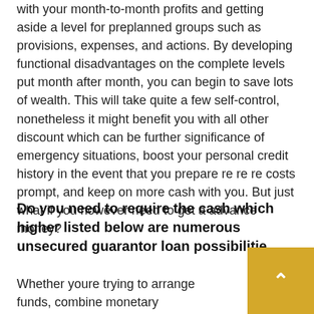with your month-to-month profits and getting aside a level for preplanned groups such as provisions, expenses, and actions. By developing functional disadvantages on the complete levels put month after month, you can begin to save lots of wealth. This will take quite a few self-control, nonetheless it might benefit you with all other discount which can be further significance of emergency situations, boost your personal credit history in the event that you prepare re re re costs prompt, and keep on more cash with you. But just what if you however need to get a advance money?
Do you need to require the cash which higher listed below are numerous unsecured guarantor loan possibilities
Whether youre trying to arrange funds, combine monetary responsibility or shell out a debt down by